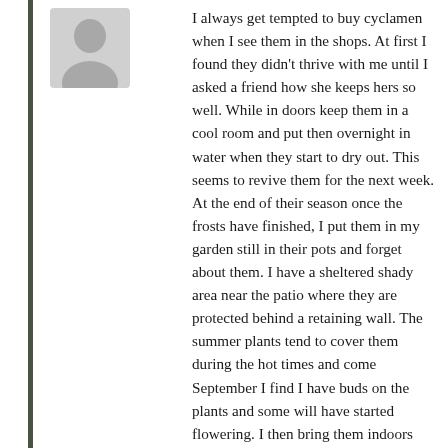[Figure (illustration): Grey silhouette avatar icon of a person]
I always get tempted to buy cyclamen when I see them in the shops. At first I found they didn’t thrive with me until I asked a friend how she keeps hers so well. While in doors keep them in a cool room and put then overnight in water when they start to dry out. This seems to revive them for the next week. At the end of their season once the frosts have finished, I put them in my garden still in their pots and forget about them. I have a sheltered shady area near the patio where they are protected behind a retaining wall. The summer plants tend to cover them during the hot times and come September I find I have buds on the plants and some will have started flowering. I then bring them indoors and keep them in a cool room and enjoy another season of colour. I have had some for about 5 years but eventually they do dwindle and look rather spindly.